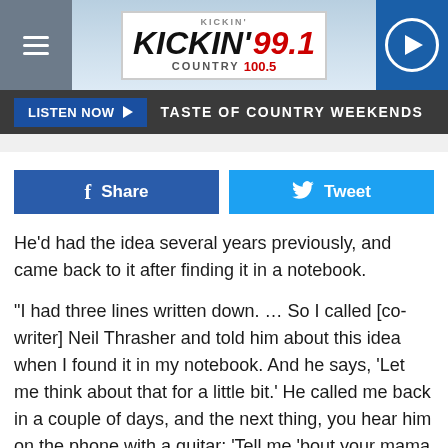[Figure (logo): Kickin' Country 99.1 / 100.5 radio station logo with header bar, hamburger menu, and play button]
LISTEN NOW ▶  TASTE OF COUNTRY WEEKENDS
Share   Tweet
He'd had the idea several years previously, and came back to it after finding it in a notebook.
"I had three lines written down. … So I called [co-writer] Neil Thrasher and told him about this idea when I found it in my notebook. And he says, 'Let me think about that for a little bit.' He called me back in a couple of days, and the next thing, you hear him on the phone with a guitar: 'Tell me 'bout your mama …' I went "Oh my God!"" Chesney said with a laugh.
Wendell Mobley also came in as a collaborator on "Take Me